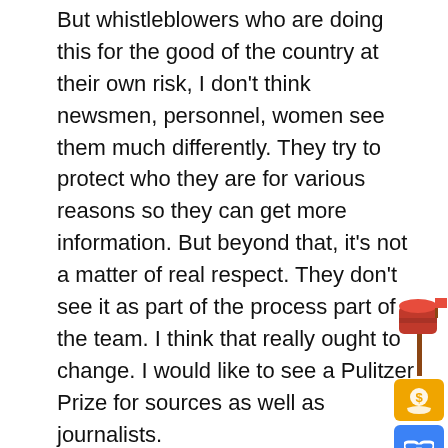But whistleblowers who are doing this for the good of the country at their own risk, I don't think newsmen, personnel, women see them much differently. They try to protect who they are for various reasons so they can get more information. But beyond that, it's not a matter of real respect. They don't see it as part of the process part of the team. I think that really ought to change. I would like to see a Pulitzer Prize for sources as well as journalists.
I wouldn't be named. No doubt it would be anonymous if you could you could find out who they were. I'm not asking for it to be retroactive exactly, but at all. But I think that would be to show that this is a legitimate, important part of a democracy and have a republic and that these unauthorized disclosure show, in the case of the whistleblowers, a very high
[Figure (illustration): Social media sharing sidebar icons: red mailbox icon at top, followed by gold dollar-hand icon, blue chain-link icon, blue envelope icon, grey/red Gmail icon, and blue Facebook icon]